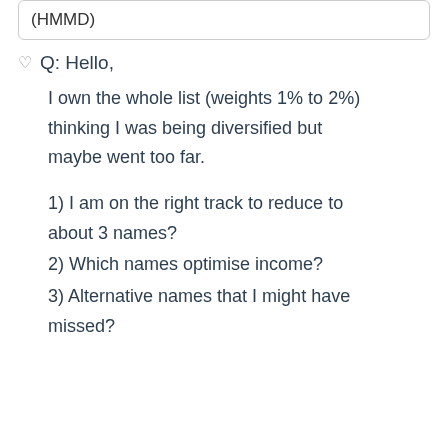(HMMD)
Q: Hello,
I own the whole list (weights 1% to 2%) thinking I was being diversified but maybe went too far.
1) I am on the right track to reduce to about 3 names?
2) Which names optimise income?
3) Alternative names that I might have missed?